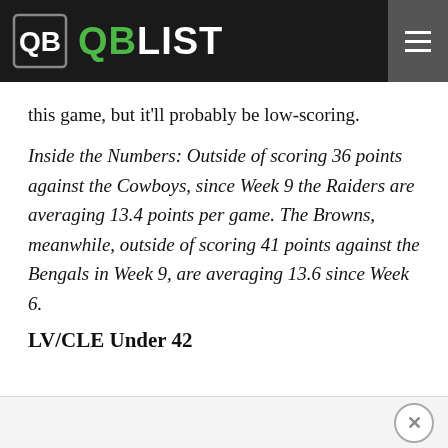QB LIST
this game, but it'll probably be low-scoring.
Inside the Numbers: Outside of scoring 36 points against the Cowboys, since Week 9 the Raiders are averaging 13.4 points per game. The Browns, meanwhile, outside of scoring 41 points against the Bengals in Week 9, are averaging 13.6 since Week 6.
LV/CLE Under 42